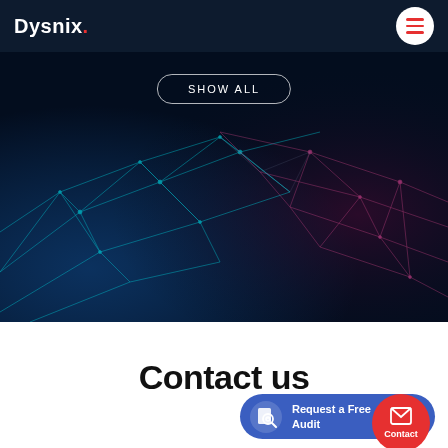Dysnix
[Figure (screenshot): Dark blue network mesh visualization with cyan and pink/red geometric polygon grid lines on dark background]
SHOW ALL
Contact us
Request a Free Audit
Contact